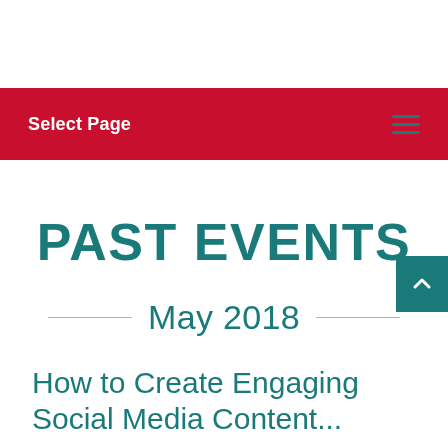Select Page
PAST EVENTS
May 2018
How to Create Engaging Social Media Content...